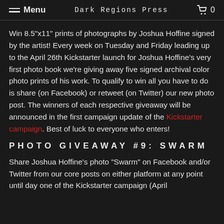Menu | Dark Regions Press | 0
Win 8.5"x11" prints of photographs by Joshua Hoffine signed by the artist! Every week on Tuesday and Friday leading up to the April 26th Kickstarter launch for Joshua Hoffine's very first photo book we're giving away five signed archival color photo prints of his work. To qualify to win all you have to do is share (on Facebook) or retweet (on Twitter) our new photo post. The winners of each respective giveaway will be announced in the first campaign update of the Kickstarter campaign. Best of luck to everyone who enters!
PHOTO GIVEAWAY #9: SWARM
Share Joshua Hoffine's photo "Swarm" on Facebook and/or Twitter from our core posts on either platform at any point until day one of the Kickstarter campaign (April